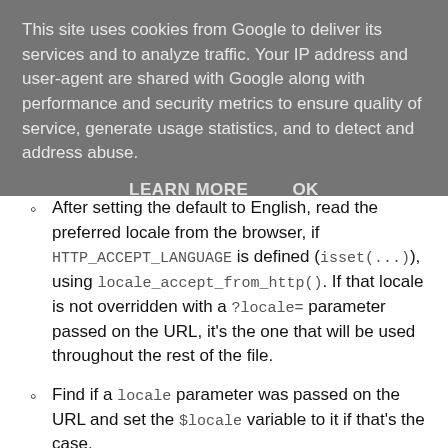This site uses cookies from Google to deliver its services and to analyze traffic. Your IP address and user-agent are shared with Google along with performance and security metrics to ensure quality of service, generate usage statistics, and to detect and address abuse.
LEARN MORE   OK
After setting the default to English, read the preferred locale from the browser, if HTTP_ACCEPT_LANGUAGE is defined (isset(...)), using locale_accept_from_http(). If that locale is not overridden with a ?locale= parameter passed on the URL, it's the one that will be used throughout the rest of the file.
Find if a locale parameter was passed on the URL and set the $locale variable to it if that's the case.
Sanitize the locale parameter to ensure that it only contains only alphabetical or